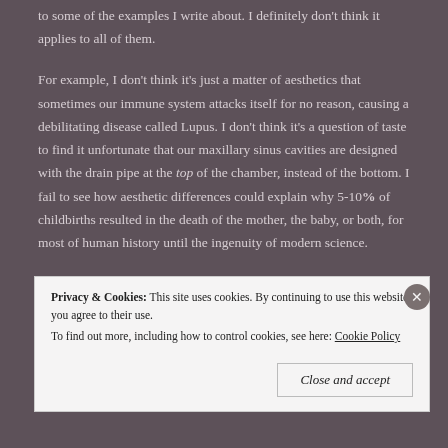to some of the examples I write about. I definitely don't think it applies to all of them.
For example, I don't think it's just a matter of aesthetics that sometimes our immune system attacks itself for no reason, causing a debilitating disease called Lupus. I don't think it's a question of taste to find it unfortunate that our maxillary sinus cavities are designed with the drain pipe at the top of the chamber, instead of the bottom. I fail to see how aesthetic differences could explain why 5-10% of childbirths resulted in the death of the mother, the baby, or both, for most of human history until the ingenuity of modern science.
Privacy & Cookies: This site uses cookies. By continuing to use this website, you agree to their use. To find out more, including how to control cookies, see here: Cookie Policy
Close and accept